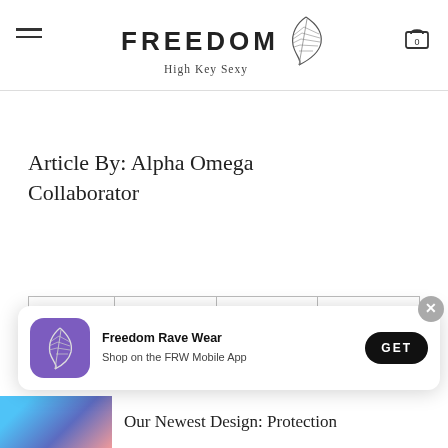FREEDOM High Key Sexy
Article By: Alpha Omega Collaborator
| Share |  |  |  |
| --- | --- | --- | --- |
| Share | f | 🐦 | p |
[Figure (infographic): Freedom Rave Wear app download popup banner with purple icon, GET button, and close (x) button]
Our Newest Design: Protection